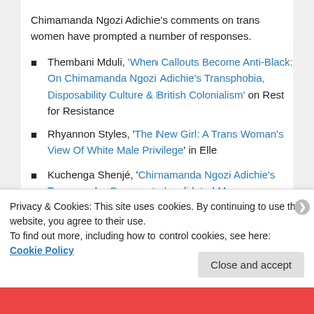Chimamanda Ngozi Adichie's comments on trans women have prompted a number of responses.
Thembani Mduli, 'When Callouts Become Anti-Black: On Chimamanda Ngozi Adichie's Transphobia, Disposability Culture & British Colonialism' on Rest for Resistance
Rhyannon Styles, 'The New Girl: A Trans Woman's View Of White Male Privilege' in Elle
Kuchenga Shenjé, 'Chimamanda Ngozi Adichie's Transgender Comments Invalidated My Womanhood' on gal-dem
Halle Kiefer, 'Laverne Cox Responds to Chimamanda Adichie's Comments About Trans
Privacy & Cookies: This site uses cookies. By continuing to use this website, you agree to their use.
To find out more, including how to control cookies, see here: Cookie Policy